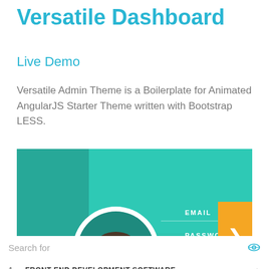Versatile Dashboard
Live Demo
Versatile Admin Theme is a Boilerplate for Animated AngularJS Starter Theme written with Bootstrap LESS.
[Figure (screenshot): Screenshot of the Versatile Dashboard app showing a teal/green login UI with a circular avatar illustration, EMAIL and PASSWORD fields, and an orange arrow button.]
Search for
1. FRONT-END DEVELOPMENT SOFTWARE
2. FRONT-END DEVELOPER JOBS